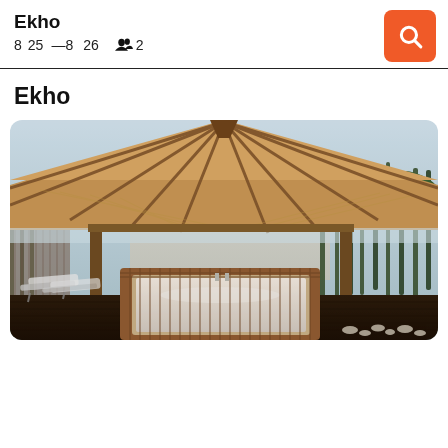Ekho
8  25  — 8  26     👥 2
Ekho
[Figure (photo): Outdoor pavilion with wooden thatched roof covering a jacuzzi/hot tub, surrounded by tropical bamboo plants and lounge chairs in background]